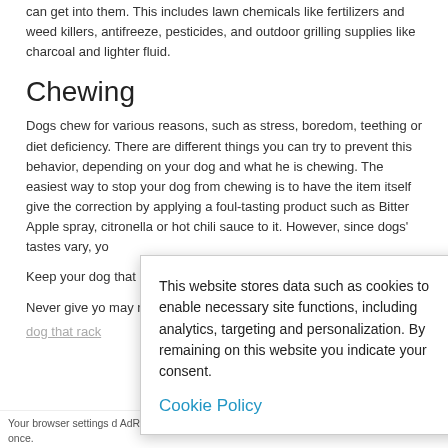can get into them. This includes lawn chemicals like fertilizers and weed killers, antifreeze, pesticides, and outdoor grilling supplies like charcoal and lighter fluid.
Chewing
Dogs chew for various reasons, such as stress, boredom, teething or diet deficiency. There are different things you can try to prevent this behavior, depending on your dog and what he is chewing. The easiest way to stop your dog from chewing is to have the item itself give the correction by applying a foul-tasting product such as Bitter Apple spray, citronella or hot chili sauce to it. However, since dogs' tastes vary, yo...
Keep your dog... that reward him... KONG®. Ever... that he has so...
Never give yo... may not distin... be aware that...
dog that rack...
[Figure (screenshot): Cookie consent popup overlay with close (X) button, text about website data storage, and Cookie Policy link]
Your browser settings d... AdRoll to use cross-site... by clicking here. This m...essage only appears once.